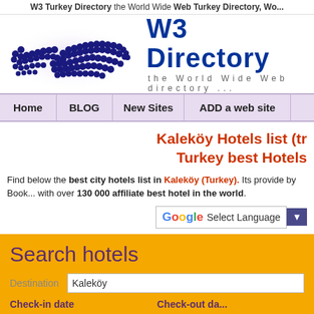W3 Turkey Directory the World Wide Web Turkey Directory, Wo...
[Figure (logo): W3 Directory logo with world map made of dots and the text 'W3 Directory - the World Wide Web directory ...']
| Home | BLOG | New Sites | ADD a web site |  |
| --- | --- | --- | --- | --- |
Kaleköy Hotels list (tr...) Turkey best Hotels
Find below the best city hotels list in Kaleköy (Turkey). Its provide by Book... with over 130 000 affiliate best hotel in the world.
[Figure (screenshot): Google Translate widget with 'Select Language' dropdown and arrow button]
Search hotels
Destination  Kaleköy
Check-in date    Check-out da...